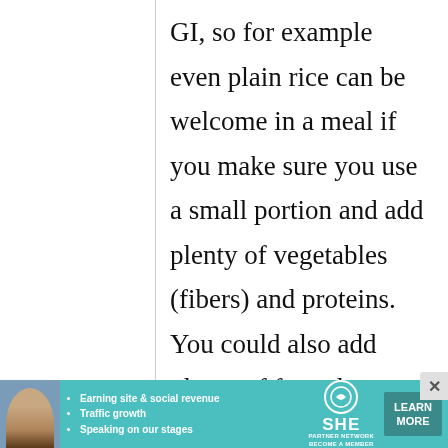GI, so for example even plain rice can be welcome in a meal if you make sure you use a small portion and add plenty of vegetables (fibers) and proteins. You could also add plenty of fat to lower GI, but on a long term this is a bad idea, a small amount is
[Figure (infographic): Advertisement banner for SHE Partner Network featuring a woman's photo, bullet points about earning site & social revenue, traffic growth, speaking on stages, SHE logo, and a Learn More button]